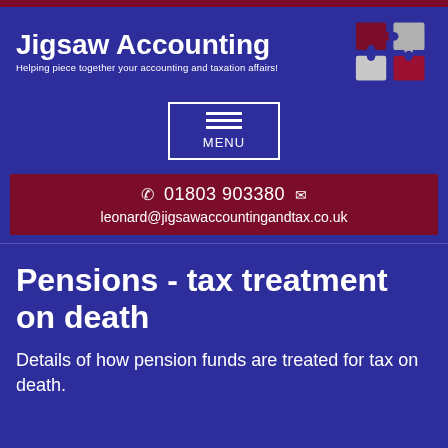[Figure (logo): Jigsaw Accounting logo with puzzle piece graphic and tagline 'Helping piece together your accounting and taxation affairs!']
[Figure (other): Navigation menu button with hamburger icon and MENU label, styled with white border on blue background]
01803 903380  leonard@jigsawaccountingandtax.co.uk
Pensions - tax treatment on death
Details of how pension funds are treated for tax on death.